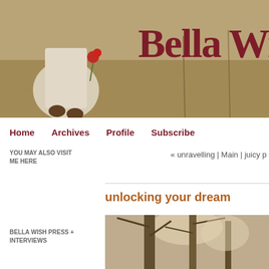[Figure (photo): Header banner image of a woman in a white dress holding a red flower, walking through a field, with large text 'Bella Wish' overlaid in dark red serif font]
Home   Archives   Profile   Subscribe
YOU MAY ALSO VISIT ME HERE
« unravelling | Main | juicy p
unlocking your dream
[Figure (photo): Black and white/sepia photo of trees with light filtering through branches]
BELLA WISH PRESS + INTERVIEWS